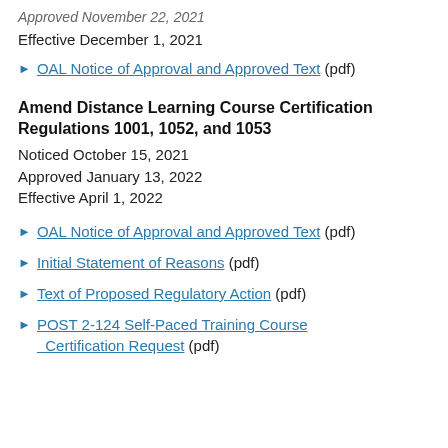Effective December 1, 2021
OAL Notice of Approval and Approved Text (pdf)
Amend Distance Learning Course Certification Regulations 1001, 1052, and 1053
Noticed October 15, 2021
Approved January 13, 2022
Effective April 1, 2022
OAL Notice of Approval and Approved Text (pdf)
Initial Statement of Reasons (pdf)
Text of Proposed Regulatory Action (pdf)
POST 2-124 Self-Paced Training Course Certification Request (pdf)